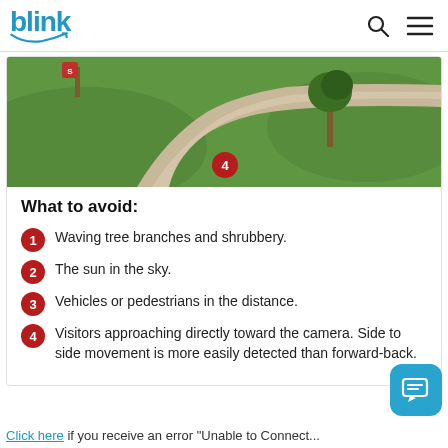blink
[Figure (photo): Outdoor scene showing a curved concrete sidewalk winding through green grass, with a tree and a stop sign visible. A red circular badge with the number 4 is overlaid on the image.]
What to avoid:
Waving tree branches and shrubbery.
The sun in the sky.
Vehicles or pedestrians in the distance.
Visitors approaching directly toward the camera. Side to side movement is more easily detected than forward-back.
Click here if you receive an error "Unable to Connect...